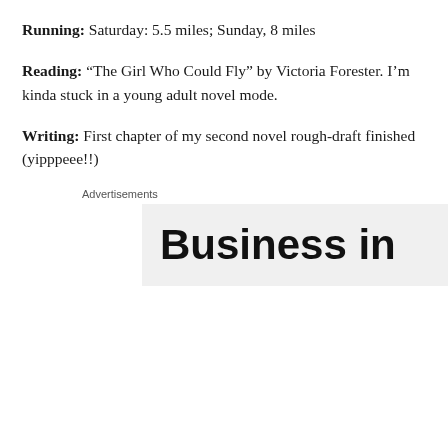Running: Saturday: 5.5 miles; Sunday, 8 miles
Reading: “The Girl Who Could Fly” by Victoria Forester. I’m kinda stuck in a young adult novel mode.
Writing: First chapter of my second novel rough-draft finished (yipppeee!!)
Advertisements
[Figure (other): Partial advertisement banner showing large bold text 'Business in' on a light grey background]
Privacy & Cookies: This site uses cookies. By continuing to use this website, you agree to their use.
To find out more, including how to control cookies, see here: Cookie Policy
Close and accept